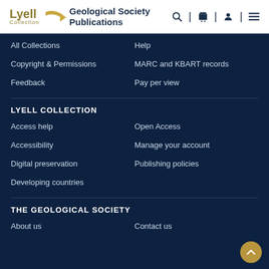[Figure (logo): Lyell Collection Geological Society Publications logo with arrow icon and navigation icons (search, cart, user, menu)]
All Collections
Help
Copyright & Permissions
MARC and KBART records
Feedback
Pay per view
LYELL COLLECTION
Access help
Open Access
Accessibility
Manage your account
Digital preservation
Publishing policies
Developing countries
THE GEOLOGICAL SOCIETY
About us
Contact us